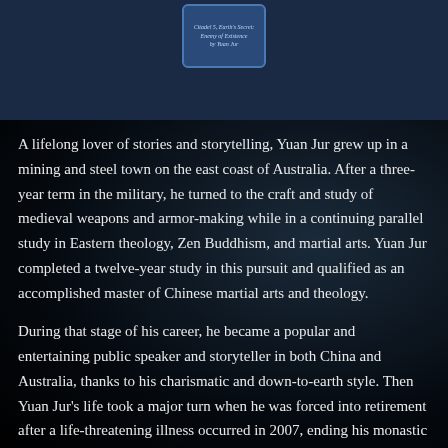[Figure (logo): Book logo badge with text: Citadel 5, Earth's Secret, Enemy of Existence by Yuan Jur]
A lifelong lover of stories and storytelling, Yuan Jur grew up in a mining and steel town on the east coast of Australia. After a three-year term in the military, he turned to the craft and study of medieval weapons and armor-making while in a continuing parallel study in Eastern theology, Zen Buddhism, and martial arts. Yuan Jur completed a twelve-year study in this pursuit and qualified as an accomplished master of Chinese martial arts and theology.
During that stage of his career, he became a popular and entertaining public speaker and storyteller in both China and Australia, thanks to his charismatic and down-to-earth style. Then Yuan Jur’s life took a major turn when he was forced into retirement after a life-threatening illness occurred in 2007, ending his monastic career.
At forty-nine years old, Yuan Jur decided on a new direction as a full-